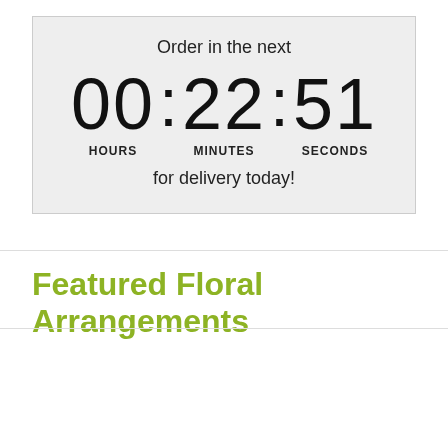Order in the next
00 : 22 : 51 HOURS MINUTES SECONDS
for delivery today!
Featured Floral Arrangements